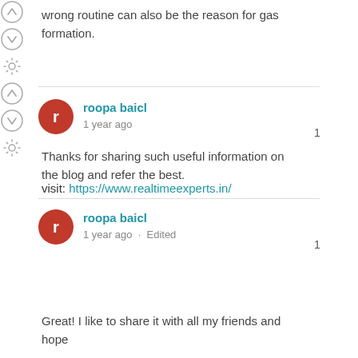wrong routine can also be the reason for gas formation.
roopa baicl
1 year ago

Thanks for sharing such useful information on the blog and refer the best.

visit: https://www.realtimeexperts.in/
roopa baicl
1 year ago · Edited

Great! I like to share it with all my friends and hope